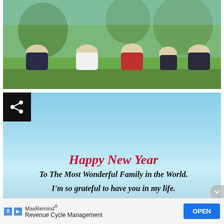[Figure (photo): Family photo of five people (Asian family) lying on grass in a park, smiling. Text overlay in red cursive reads 'Happy New Year' in the top right.]
[Figure (infographic): Light blue gradient background card with a share button in top-left corner (black square with white share icon). Red cursive text reads 'Happy New Year', followed by black cursive text 'To The Most Wonderful Family in the World.' and 'I'm so grateful to have you in my life.']
MaxRemind® Revenue Cycle Management OPEN